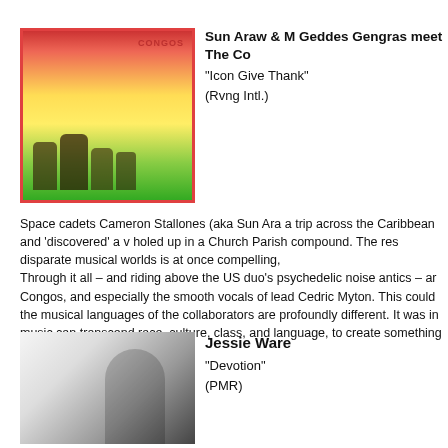[Figure (photo): Album cover for Icon Give Thank - colorful image with Rastafarian colors (red, yellow, green) and figures]
Sun Araw & M Geddes Gengras meet The Co
“Icon Give Thank”
(Rvng Intl.)
Space cadets Cameron Stallones (aka Sun Ara a trip across the Caribbean and ‘discovered’ a v holed up in a Church Parish compound. The res disparate musical worlds is at once compelling, Through it all – and riding above the US duo’s psychedelic noise antics – ar Congos, and especially the smooth vocals of lead Cedric Myton. This could the musical languages of the collaborators are profoundly different. It was in music can transcend race, culture, class, and language, to create something Wood)
[Figure (photo): Black and white portrait photo of Jessie Ware]
Jessie Ware
“Devotion”
(PMR)
Former Jewish Chronicle journalist and SBTRK charmed her way onto the Mercury Prize shortli